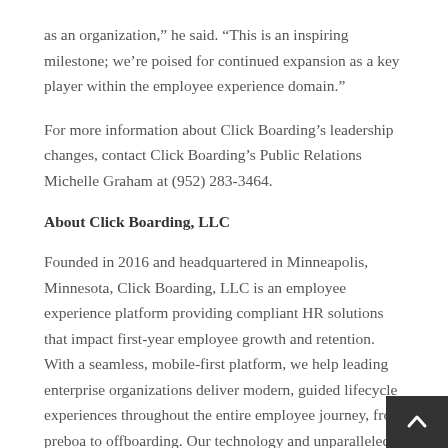as an organization,” he said. “This is an inspiring milestone; we’re poised for continued expansion as a key player within the employee experience domain.”
For more information about Click Boarding’s leadership changes, contact Click Boarding’s Public Relations Michelle Graham at (952) 283-3464.
About Click Boarding, LLC
Founded in 2016 and headquartered in Minneapolis, Minnesota, Click Boarding, LLC is an employee experience platform providing compliant HR solutions that impact first-year employee growth and retention. With a seamless, mobile-first platform, we help leading enterprise organizations deliver modern, guided lifecycle experiences throughout the entire employee journey, from preboa… to offboarding. Our technology and unparalleled expe…